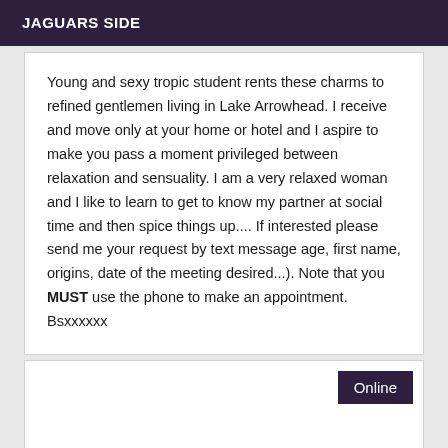JAGUARS SIDE
Young and sexy tropic student rents these charms to refined gentlemen living in Lake Arrowhead. I receive and move only at your home or hotel and I aspire to make you pass a moment privileged between relaxation and sensuality. I am a very relaxed woman and I like to learn to get to know my partner at social time and then spice things up.... If interested please send me your request by text message age, first name, origins, date of the meeting desired...). Note that you MUST use the phone to make an appointment. Bsxxxxxx
Online